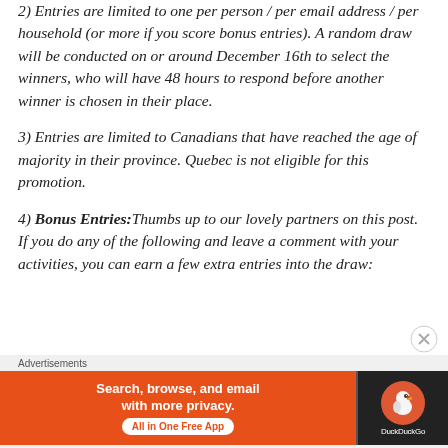2) Entries are limited to one per person / per email address / per household (or more if you score bonus entries). A random draw will be conducted on or around December 16th to select the winners, who will have 48 hours to respond before another winner is chosen in their place.
3) Entries are limited to Canadians that have reached the age of majority in their province. Quebec is not eligible for this promotion.
4) Bonus Entries: Thumbs up to our lovely partners on this post. If you do any of the following and leave a comment with your activities, you can earn a few extra entries into the draw:
Advertisements
[Figure (other): DuckDuckGo advertisement banner: orange background on left with text 'Search, browse, and email with more privacy. All in One Free App' and DuckDuckGo logo on dark right panel.]